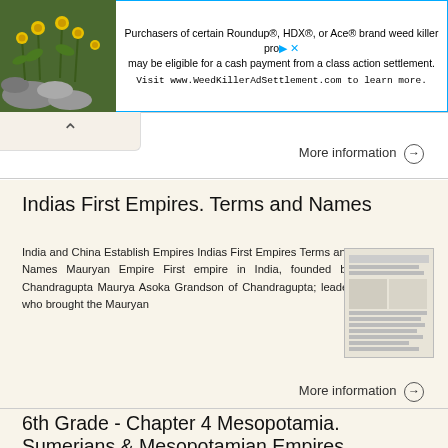[Figure (photo): Advertisement banner showing a photo of a plant with yellow flowers on the left, and text about Roundup, HDX, or Ace brand weed killer class action settlement on the right with a blue border. Visit www.WeedKillerAdSettlement.com to learn more.]
More information →
Indias First Empires. Terms and Names
India and China Establish Empires Indias First Empires Terms and Names Mauryan Empire First empire in India, founded by Chandragupta Maurya Asoka Grandson of Chandragupta; leader who brought the Mauryan
More information →
6th Grade - Chapter 4 Mesopotamia. Sumerians & Mesopotamian Empires
6th Grade - Chapter 4 Mesopotamia Sumerians & Mesopotamian Empires Lesson 1: The Sumerians The Sumerians made